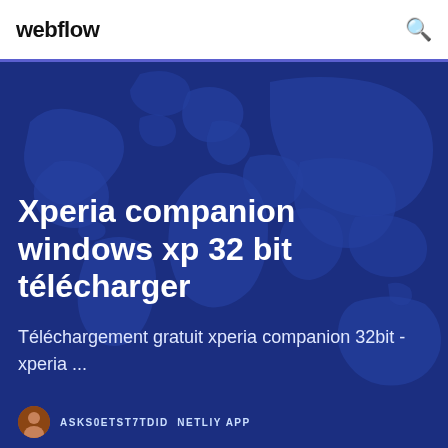webflow
[Figure (illustration): Dark blue world map background illustration used as hero section background]
Xperia companion windows xp 32 bit télécharger
Téléchargement gratuit xperia companion 32bit - xperia ...
ASKS0ETST7TDID NETLIFY APP